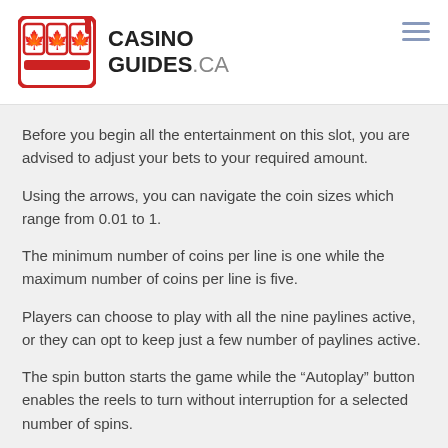CASINO GUIDES.CA
Before you begin all the entertainment on this slot, you are advised to adjust your bets to your required amount.
Using the arrows, you can navigate the coin sizes which range from 0.01 to 1.
The minimum number of coins per line is one while the maximum number of coins per line is five.
Players can choose to play with all the nine paylines active, or they can opt to keep just a few number of paylines active.
The spin button starts the game while the “Autoplay” button enables the reels to turn without interruption for a selected number of spins.